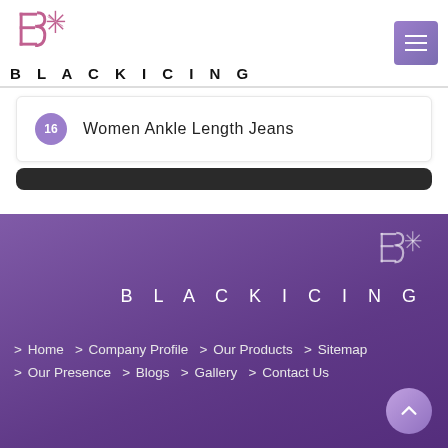[Figure (logo): Black Icing brand logo with geometric B and snowflake design in pink/purple tones]
BLACKICING
16  Women Ankle Length Jeans
[Figure (logo): Black Icing watermark logo in white outline on purple footer background]
BLACKICING
> Home > Company Profile > Our Products > Sitemap > Our Presence > Blogs > Gallery > Contact Us